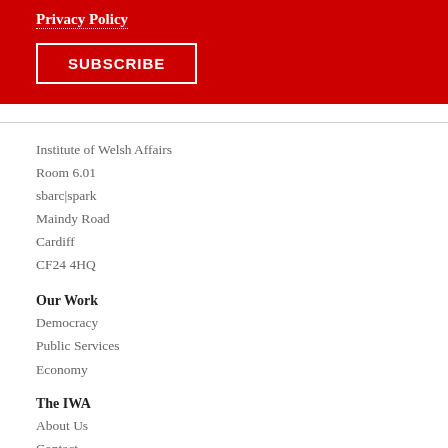Privacy Policy
SUBSCRIBE
Institute of Welsh Affairs
Room 6.01
sbarc|spark
Maindy Road
Cardiff
CF24 4HQ
Our Work
Democracy
Public Services
Economy
The IWA
About Us
Contact
Cookie Policy